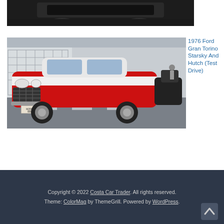[Figure (photo): Partial bottom of a vehicle or car, dark background, top portion of a car shown from above with dark finish]
[Figure (photo): 1976 Ford Gran Torino red and white car, Starsky and Hutch livery, parked on a street, Spanish license plate M2501 BBF]
1976 Ford Gran Torino Starsky And Hutch (Test Drive)
Copyright © 2022 Costa Car Trader. All rights reserved. Theme: ColorMag by ThemeGrill. Powered by WordPress.